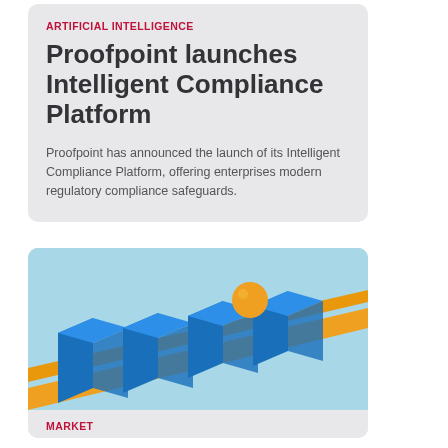ARTIFICIAL INTELLIGENCE
Proofpoint launches Intelligent Compliance Platform
Proofpoint has announced the launch of its Intelligent Compliance Platform, offering enterprises modern regulatory compliance safeguards.
[Figure (illustration): 3D illustration of blue rectangular blocks arranged in a row on parallel tracks with an orange ball and orange stripe passing through, on a light blue background]
MARKET